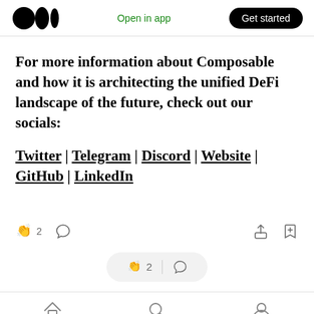Medium app header with logo, Open in app, Get started button
For more information about Composable and how it is architecting the unified DeFi landscape of the future, check out our socials:
Twitter | Telegram | Discord | Website | GitHub | LinkedIn
[Figure (screenshot): Reaction bar with clap icon, count 2, comment icon, share icon, bookmark icon]
[Figure (screenshot): Floating pill with clap icon, 2, divider, comment icon]
[Figure (screenshot): Bottom navigation bar with home, search, and profile icons]